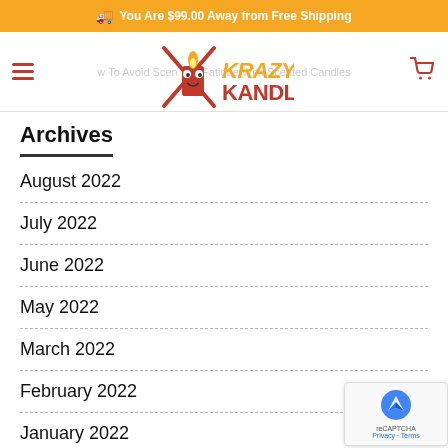You Are $99.00 Away from Free Shipping
[Figure (logo): KrazyKandle logo with a cartoon candle character and the text KRAZYKANDLE]
Archives
August 2022
July 2022
June 2022
May 2022
March 2022
February 2022
January 2022